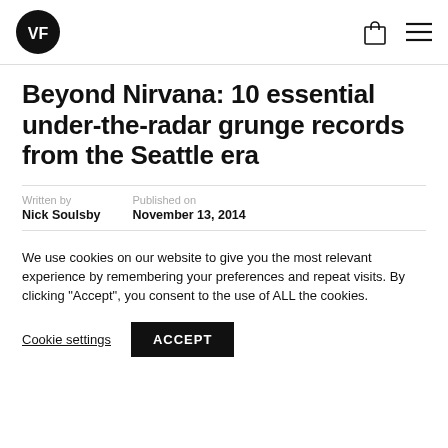VF logo, bag icon, menu icon
Beyond Nirvana: 10 essential under-the-radar grunge records from the Seattle era
Written by
Nick Soulsby
Published on
November 13, 2014
We use cookies on our website to give you the most relevant experience by remembering your preferences and repeat visits. By clicking "Accept", you consent to the use of ALL the cookies.
Cookie settings   ACCEPT